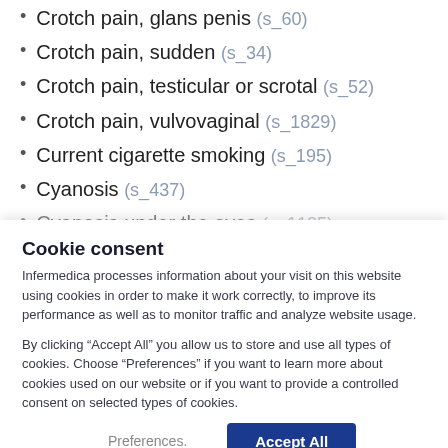Crotch pain, glans penis (s_60)
Crotch pain, sudden (s_34)
Crotch pain, testicular or scrotal (s_52)
Crotch pain, vulvovaginal (s_1829)
Current cigarette smoking (s_195)
Cyanosis (s_437)
Cyanosis under the eyes (s_1105)
Cookie consent
Infermedica processes information about your visit on this website using cookies in order to make it work correctly, to improve its performance as well as to monitor traffic and analyze website usage.
By clicking “Accept All” you allow us to store and use all types of cookies. Choose “Preferences” if you want to learn more about cookies used on our website or if you want to provide a controlled consent on selected types of cookies.